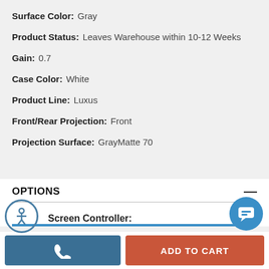Surface Color: Gray
Product Status: Leaves Warehouse within 10-12 Weeks
Gain: 0.7
Case Color: White
Product Line: Luxus
Front/Rear Projection: Front
Projection Surface: GrayMatte 70
OPTIONS
Screen Controller: